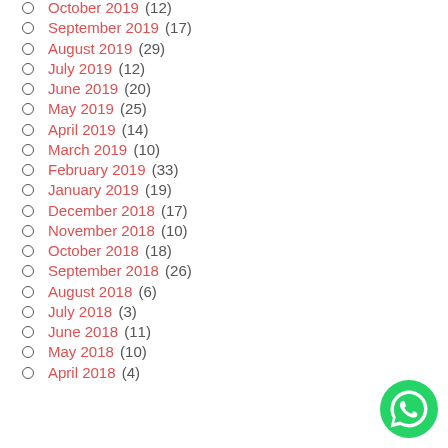October 2019 (12)
September 2019 (17)
August 2019 (29)
July 2019 (12)
June 2019 (20)
May 2019 (25)
April 2019 (14)
March 2019 (10)
February 2019 (33)
January 2019 (19)
December 2018 (17)
November 2018 (10)
October 2018 (18)
September 2018 (26)
August 2018 (6)
July 2018 (3)
June 2018 (11)
May 2018 (10)
April 2018 (4)